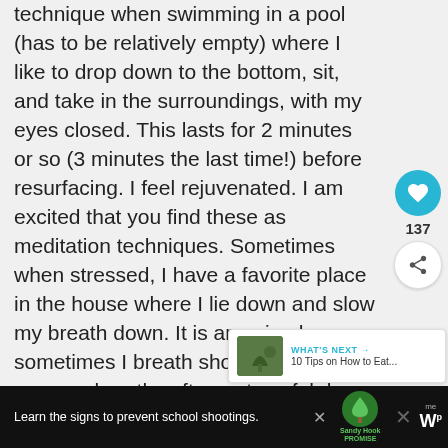technique when swimming in a pool (has to be relatively empty) where I like to drop down to the bottom, sit, and take in the surroundings, with my eyes closed. This lasts for 2 minutes or so (3 minutes the last time!) before resurfacing. I feel rejuvenated. I am excited that you find these as meditation techniques. Sometimes when stressed, I have a favorite place in the house where I lie down and slow my breath down. It is amazing how sometimes I breath short, quick, nervous breaths after a stressful day and lie down and slow them to long, breaths and I am so much calmer. Th calm me, clear my mind, or spark an idea
[Figure (screenshot): Advertisement bar at bottom: 'Learn the signs to prevent school shootings.' with Sandy Hook Promise logo (green tree)]